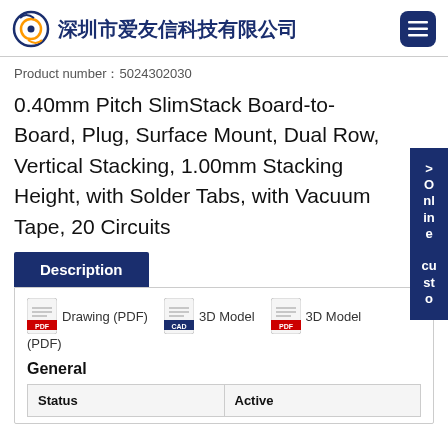深圳市爱友信科技有限公司
Product number：5024302030
0.40mm Pitch SlimStack Board-to-Board, Plug, Surface Mount, Dual Row, Vertical Stacking, 1.00mm Stacking Height, with Solder Tabs, with Vacuum Tape, 20 Circuits
Description
Drawing (PDF)   3D Model   3D Model (PDF)
General
| Status | Active |
| --- | --- |